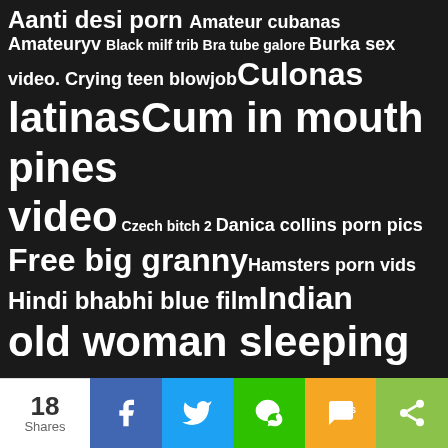[Figure (infographic): Word cloud on dark background with adult search terms in varying sizes indicating search frequency. Terms include: Aanti desi porn, Amateur cubanas, Amateuryv, Black milf trib, Bra tube galore, Burka sex video, Crying teen blowjob, Culonas latinas, Cum in mouth pines video, Czech bitch 2, Danica collins porn pics, Free big granny, Hamsters porn vids, Hindi bhabhi blue film, Indian old woman sleeping sex, Indian work hot sex, Jav black.com, Latina huge, Lesbea.com, Luo porno, Mallu boobs sucked, Mauritius porno, Mom sucked me dry, Muslime xxx video, New johnny xxx, Nude latina milf, Phimxecando, Porn rape force, Porn vaginal, Porno caseioro, and more partially visible at bottom.]
18 Shares | Facebook | Twitter | WeChat | SMS | Share